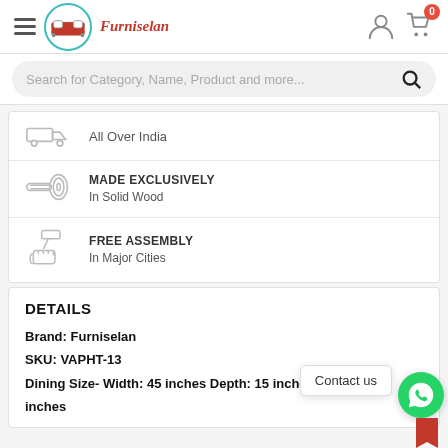Furniselan — hamburger menu, logo, user icon, cart (0)
Search for Category, Name, Product and more...
All Over India
MADE EXCLUSIVELY — In Solid Wood
FREE ASSEMBLY — In Major Cities
DETAILS
Brand: Furniselan
SKU: VAPHT-13
Dining Size- Width: 45 inches Depth: 15 inches Height: 19 inches